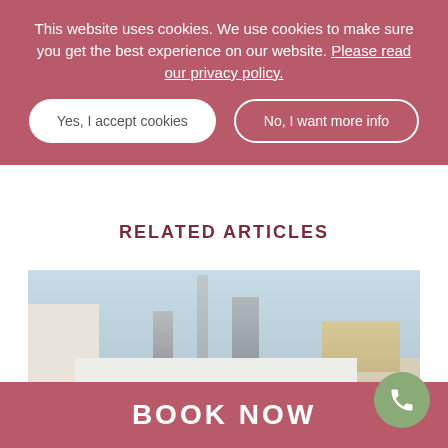This website uses cookies. We use cookies to make sure you get the best experience on our website. Please read our privacy policy.
Yes, I accept cookies
No, I want more info
RELATED ARTICLES
[Figure (photo): Exterior photo of a mall or hotel with a view of Dubai skyline including the Burj Khalifa in the background, white umbrellas and greenery in the foreground]
BOOK NOW